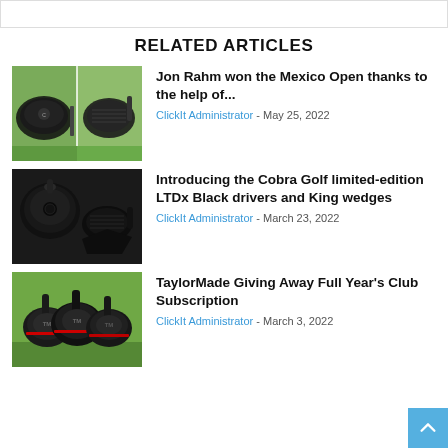RELATED ARTICLES
[Figure (photo): Golf drivers - Callaway Rogue driver shown from two angles on green grass background]
Jon Rahm won the Mexico Open thanks to the help of...
ClickIt Administrator - May 25, 2022
[Figure (photo): Cobra Golf LTDx Black driver head shown in two angles on dark background]
Introducing the Cobra Golf limited-edition LTDx Black drivers and King wedges
ClickIt Administrator - March 23, 2022
[Figure (photo): Three TaylorMade golf drivers on green grass]
TaylorMade Giving Away Full Year's Club Subscription
ClickIt Administrator - March 3, 2022